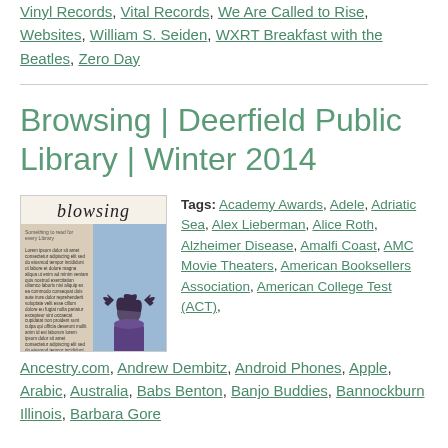Vinyl Records, Vital Records, We Are Called to Rise, Websites, William S. Seiden, WXRT Breakfast with the Beatles, Zero Day
Browsing | Deerfield Public Library | Winter 2014
[Figure (illustration): Cover image of Browsing newsletter showing stylized text 'blowsing' at top, left column with dense text content, right side with blue background and person with wild hair]
Tags: Academy Awards, Adele, Adriatic Sea, Alex Lieberman, Alice Roth, Alzheimer Disease, Amalfi Coast, AMC Movie Theaters, American Booksellers Association, American College Test (ACT), Ancestry.com, Andrew Dembitz, Android Phones, Apple, Arabic, Australia, Babs Benton, Banjo Buddies, Bannockburn Illinois, Barbara Gore